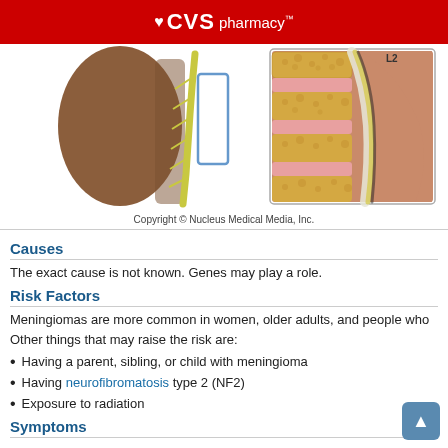CVS pharmacy™
[Figure (illustration): Medical illustration of spinal anatomy showing two views: a sagittal cross-section of the spine with spinal cord and nerve roots, and a zoomed detail of spinal vertebrae showing yellow bone marrow, pink discs, and white ligaments/dura.]
Copyright © Nucleus Medical Media, Inc.
Causes
The exact cause is not known. Genes may play a role.
Risk Factors
Meningiomas are more common in women, older adults, and people who
Other things that may raise the risk are:
Having a parent, sibling, or child with meningioma
Having neurofibromatosis type 2 (NF2)
Exposure to radiation
Symptoms